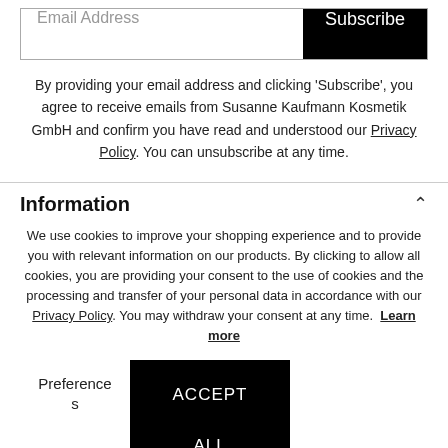[Figure (other): Email address input field with Subscribe button]
By providing your email address and clicking 'Subscribe', you agree to receive emails from Susanne Kaufmann Kosmetik GmbH and confirm you have read and understood our Privacy Policy. You can unsubscribe at any time.
Information
We use cookies to improve your shopping experience and to provide you with relevant information on our products. By clicking to allow all cookies, you are providing your consent to the use of cookies and the processing and transfer of your personal data in accordance with our Privacy Policy. You may withdraw your consent at any time. Learn more
Preferences
ACCEPT ALL